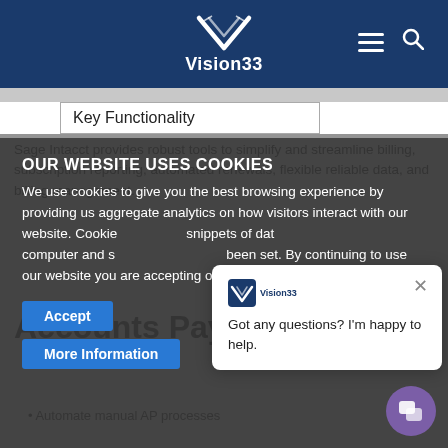[Figure (logo): Vision33 logo with V symbol in white on dark blue header background]
Key Functionality
Sage Intacct provides robust tools to simplify and streamline billing, subscription reporting, automated renewals, flexible reliable data, and billing management.
Accounts Payable
OUR WEBSITE USES COOKIES
We use cookies to give you the best browsing experience by providing us aggregate analytics on how visitors interact with our website. Cookies are small snippets of data stored on your computer and some have already been set. By continuing to use our website you are accepting our use of cookies.
Automate manual AP processes